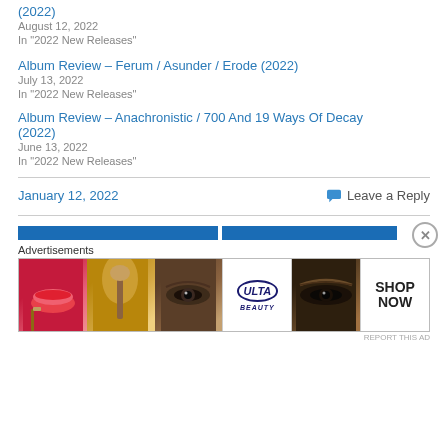(2022)
August 12, 2022
In "2022 New Releases"
Album Review – Ferum / Asunder / Erode (2022)
July 13, 2022
In "2022 New Releases"
Album Review – Anachronistic / 700 And 19 Ways Of Decay (2022)
June 13, 2022
In "2022 New Releases"
January 12, 2022
Leave a Reply
[Figure (photo): Ulta Beauty advertisement banner showing makeup/beauty images with SHOP NOW call to action]